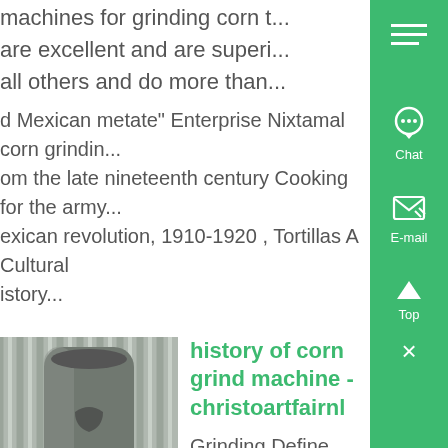machines for grinding corn t... are excellent and are superi... all others and do more than...
d Mexican metate" Enterprise Nixtamal corn grindin... om the late nineteenth century Cooking for the army... exican revolution, 1910-1920 , Tortillas A Cultural istory...
[Figure (photo): Industrial corn grinding machine - cylindrical metal grinder against corrugated metal wall]
history of corn grind machine - christoartfairnl
Grinding Define Grinding at Dictionary verb grinds, grind... ground to reduce or be redu...
mall particles by pounding or abrading to grind corn;